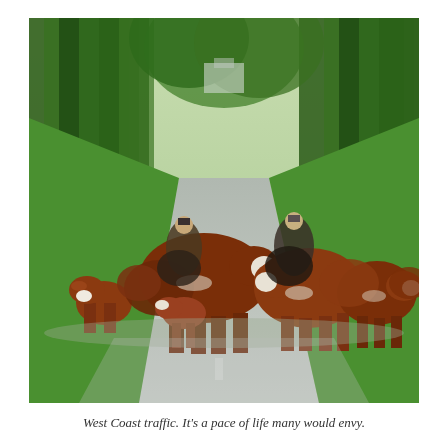[Figure (photo): A herd of brown and white Hereford cattle walking along a rural road lined with tall green trees and lush vegetation. Two riders on horseback are herding the cattle from behind. A bridge or structure is faintly visible in the background. The road has white dashed centre lines visible in the foreground.]
West Coast traffic. It's a pace of life many would envy.